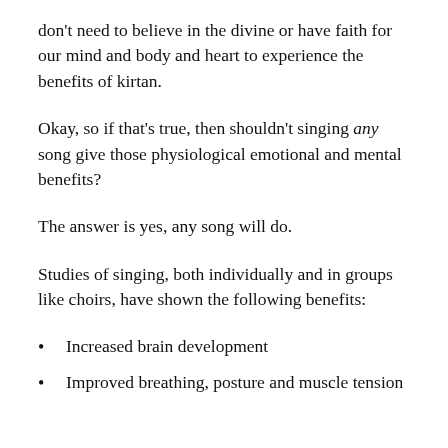don't need to believe in the divine or have faith for our mind and body and heart to experience the benefits of kirtan.
Okay, so if that's true, then shouldn't singing any song give those physiological emotional and mental benefits?
The answer is yes, any song will do.
Studies of singing, both individually and in groups like choirs, have shown the following benefits:
Increased brain development
Improved breathing, posture and muscle tension